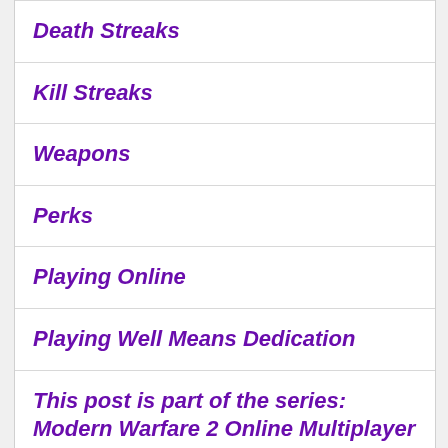| Death Streaks |
| Kill Streaks |
| Weapons |
| Perks |
| Playing Online |
| Playing Well Means Dedication |
| This post is part of the series: Modern Warfare 2 Online Multiplayer Guide |
Challenge Yourself
Call of Duty: Modern Warfare 2's online